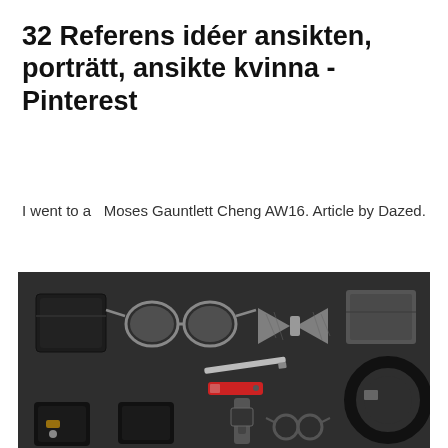32 Referens idéer ansikten, porträtt, ansikte kvinna - Pinterest
I went to a   Moses Gauntlett Cheng AW16. Article by Dazed.
[Figure (photo): Flat lay knolling photo of men's accessories on dark gray background: black wallet, aviator sunglasses, gray knit bow tie, gray notebook/wallet, pen, Swiss army knife, leather belt coiled, black phone, small black purse, measuring tape, glasses]